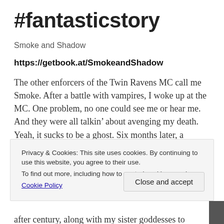#fantasticstory
Smoke and Shadow
https://getbook.at/SmokeandShadow
The other enforcers of the Twin Ravens MC call me Smoke. After a battle with vampires, I woke up at the MC. One problem, no one could see me or hear me. And they were all talkin’ about avenging my death. Yeah, it sucks to be a ghost. Six months later, a walking wet dream in pink
Privacy & Cookies: This site uses cookies. By continuing to use this website, you agree to their use.
To find out more, including how to control cookies, see here:
Cookie Policy
Close and accept
after century, along with my sister goddesses to redeem